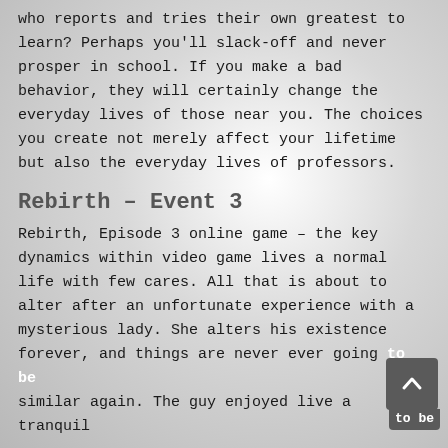who reports and tries their own greatest to learn? Perhaps you'll slack-off and never prosper in school. If you make a bad behavior, they will certainly change the everyday lives of those near you. The choices you create not merely affect your lifetime but also the everyday lives of professors.
Rebirth – Event 3
Rebirth, Episode 3 online game – the key dynamics within video game lives a normal life with few cares. All that is about to alter after an unfortunate experience with a mysterious lady. She alters his existence forever, and things are never ever going to be similar again. The guy enjoyed live a tranquil